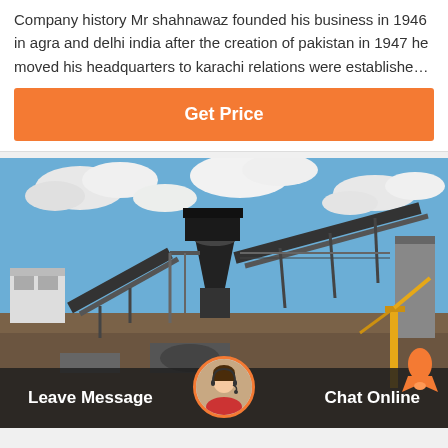Company history Mr Shahnawaz founded his business in 1946 in agra and delhi india after the creation of pakistan in 1947 he moved his headquarters to karachi relations were establishe…
Get Price
[Figure (photo): Outdoor photo of a large industrial mining/crushing plant with conveyor belts, a cone crusher, metal scaffolding, and machinery under a partly cloudy blue sky.]
Leave Message
Chat Online